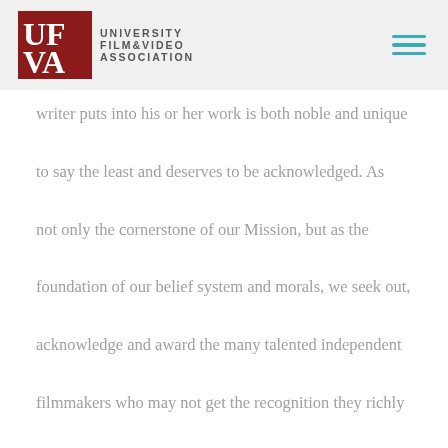UNIVERSITY FILM & VIDEO ASSOCIATION
writer puts into his or her work is both noble and unique to say the least and deserves to be acknowledged. As not only the cornerstone of our Mission, but as the foundation of our belief system and morals, we seek out, acknowledge and award the many talented independent filmmakers who may not get the recognition they richly deserve.

In addition to being one of the most dynamic festivals in the world, one of the most popular attractions that the